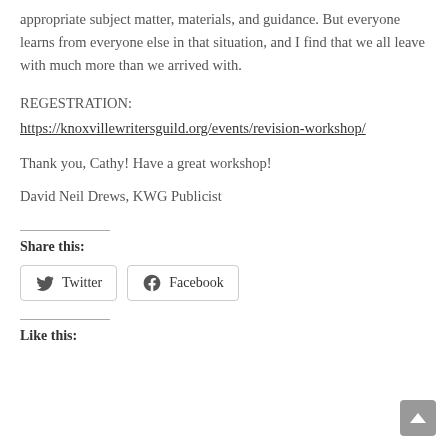appropriate subject matter, materials, and guidance. But everyone learns from everyone else in that situation, and I find that we all leave with much more than we arrived with.
REGESTRATION:
https://knoxvillewritersguild.org/events/revision-workshop/
Thank you, Cathy! Have a great workshop!
David Neil Drews, KWG Publicist
Share this:
Twitter  Facebook
Like this: